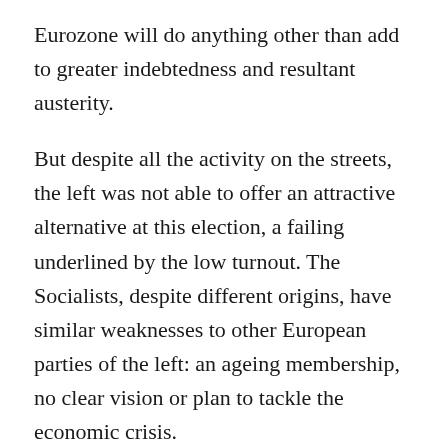Eurozone will do anything other than add to greater indebtedness and resultant austerity.
But despite all the activity on the streets, the left was not able to offer an attractive alternative at this election, a failing underlined by the low turnout. The Socialists, despite different origins, have similar weaknesses to other European parties of the left: an ageing membership, no clear vision or plan to tackle the economic crisis.
In Britain, the Corbyn-led Labour Party was able to buck the trend of decline by offering a clear, popular anti-austerity alternative in 2017. The Portuguese Socialists